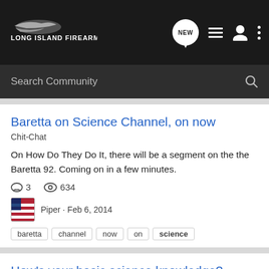Long Island Firearms
Search Community
Baretta on Science Channel, on now
Chit-Chat
On How Do They Do It, there will be a segment on the the Baretta 92. Coming on in a few minutes.
3  634
Piper · Feb 6, 2014
baretta
channel
now
on
science
How's your basic science knowledge?
Chit-Chat
http://www.pewresearch.org/quiz/science-knowledge/